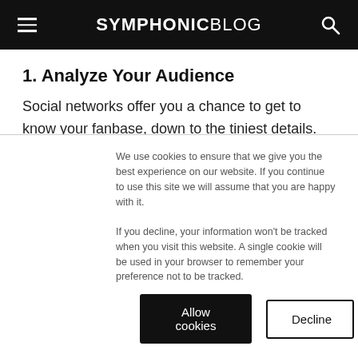SYMPHONIC BLOG
1. Analyze Your Audience
Social networks offer you a chance to get to know your fanbase, down to the tiniest details. You can see where your fans come from, their age and other interests. There are also tools that allow you to see which of your content is the most interesting to
We use cookies to ensure that we give you the best experience on our website. If you continue to use this site we will assume that you are happy with it.

If you decline, your information won't be tracked when you visit this website. A single cookie will be used in your browser to remember your preference not to be tracked.
Allow cookies | Decline